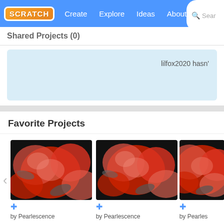Scratch — Create Explore Ideas About Search
Shared Projects (0)
lilfox2020 hasn't...
Favorite Projects
[Figure (photo): Three rose artwork thumbnails side by side, red roses on black background, by Pearlescence]
Studios I'm Following